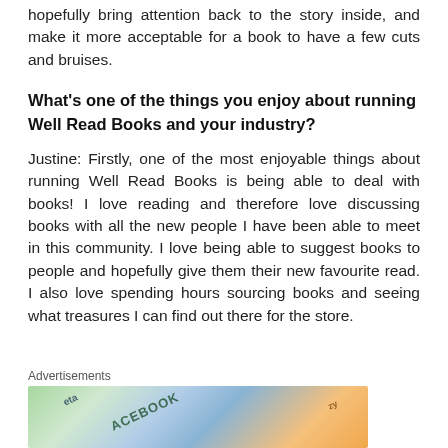hopefully bring attention back to the story inside, and make it more acceptable for a book to have a few cuts and bruises.
What's one of the things you enjoy about running Well Read Books and your industry?
Justine: Firstly, one of the most enjoyable things about running Well Read Books is being able to deal with books! I love reading and therefore love discussing books with all the new people I have been able to meet in this community. I love being able to suggest books to people and hopefully give them their new favourite read. I also love spending hours sourcing books and seeing what treasures I can find out there for the store.
Advertisements
[Figure (photo): Advertisement image showing overlapping colourful book covers or promotional cards, including one with 'FACEBOOK' text visible, against a white background.]